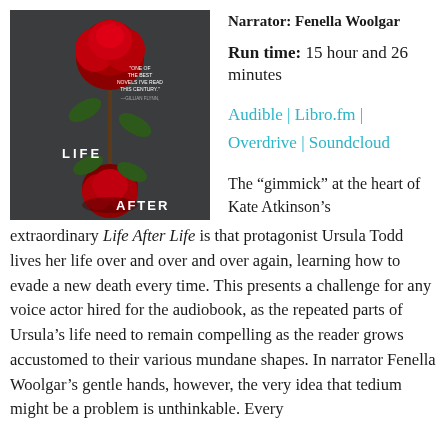[Figure (illustration): Audiobook cover of 'Life After Life' by Kate Atkinson, showing a red rose on a dark background with the title in white text, unabridged edition read by Fenella Woolgar]
Narrator: Fenella Woolgar
Run time: 15 hour and 26 minutes
Audible | Libro.fm | Overdrive | Soundcloud
The “gimmick” at the heart of Kate Atkinson’s extraordinary Life After Life is that protagonist Ursula Todd lives her life over and over and over again, learning how to evade a new death every time. This presents a challenge for any voice actor hired for the audiobook, as the repeated parts of Ursula’s life need to remain compelling as the reader grows accustomed to their various mundane shapes. In narrator Fenella Woolgar’s gentle hands, however, the very idea that tedium might be a problem is unthinkable. Every